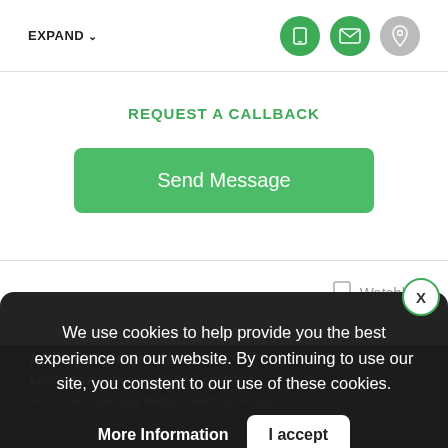EXPAND ▾
REQUEST A CALLBACK
Send Message
Watchlist
We use cookies to help provide you the best experience on our website. By continuing to use our site, you constent to our use of these cookies.
More Information
I accept